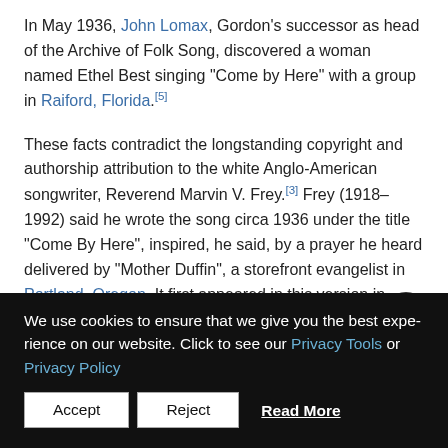In May 1936, John Lomax, Gordon's successor as head of the Archive of Folk Song, discovered a woman named Ethel Best singing "Come by Here" with a group in Raiford, Florida.[5]
These facts contradict the longstanding copyright and authorship attribution to the white Anglo-American songwriter, Reverend Marvin V. Frey.[3] Frey (1918–1992) said he wrote the song circa 1936 under the title "Come By Here", inspired, he said, by a prayer he heard delivered by "Mother Duffin", a storefront evangelist in Portland, Oregon. It first appeared in this version in Revival Choruses...
We use cookies to ensure that we give you the best experience on our website. Click to see our Privacy Tools or Privacy Policy